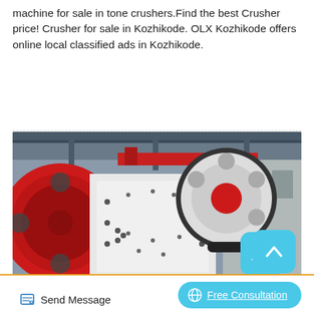machine for sale in tone crushers.Find the best Crusher price! Crusher for sale in Kozhikode. OLX Kozhikode offers online local classified ads in Kozhikode.
[Figure (photo): Industrial jaw crusher machine in a factory setting, showing large red and white flywheels, white body with bolts, and metal framework in background.]
Send Message
Free Consultation